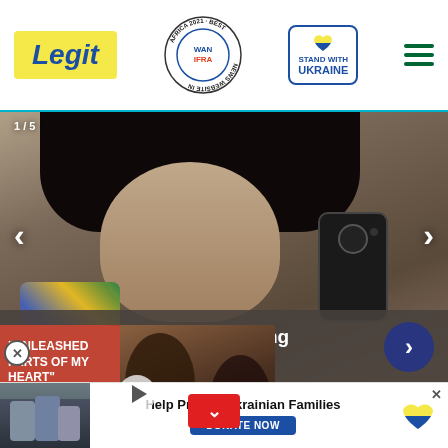[Figure (logo): Legit.ng logo with yellow background, blue italic text]
[Figure (logo): WAN IFRA Best News Website in Africa 2021 award badge circular seal]
[Figure (infographic): Stand With Ukraine button with heart icon]
[Figure (photo): Billie Eilish mirror selfie with dark hair and bangs, holding phone]
Billie Eilish Sports A Shocking Swimsuit That Stuns Fans
[Figure (screenshot): Video card with red background, text UNLEASHED PARTS OF MY HEART, celebrity couple photo, NBC logo]
"UNLEASHED PARTS OF MY HEART"
[Figure (photo): Bottom banner with Ukrainian families photo]
Help Protect Ukrainian Families
DONATE NOW